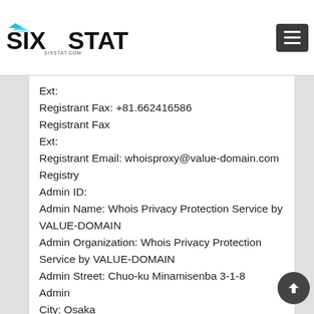SIXSTAT.COM
Ext:
Registrant Fax: +81.662416586
Registrant Fax
Ext:
Registrant Email: whoisproxy@value-domain.com
Registry
Admin ID:
Admin Name: Whois Privacy Protection Service by VALUE-DOMAIN
Admin Organization: Whois Privacy Protection Service by VALUE-DOMAIN
Admin Street: Chuo-ku Minamisenba 3-1-8
Admin
City: Osaka
Admin State/Province: Osaka
Admin Postal Code:
542-0081
Admin Country: JP
Admin Phone:
+81.662416585
Admin Phone Ext: